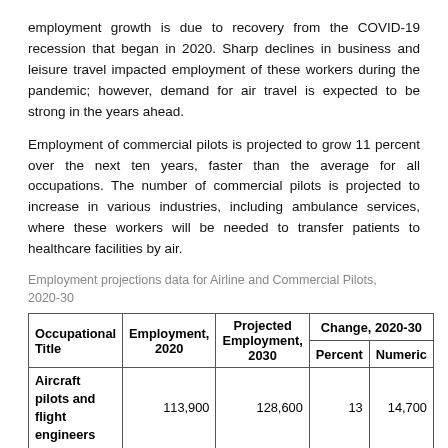employment growth is due to recovery from the COVID-19 recession that began in 2020. Sharp declines in business and leisure travel impacted employment of these workers during the pandemic; however, demand for air travel is expected to be strong in the years ahead.
Employment of commercial pilots is projected to grow 11 percent over the next ten years, faster than the average for all occupations. The number of commercial pilots is projected to increase in various industries, including ambulance services, where these workers will be needed to transfer patients to healthcare facilities by air.
Employment projections data for Airline and Commercial Pilots, 2020-30
| Occupational Title | Employment, 2020 | Projected Employment, 2030 | Percent | Numeric |
| --- | --- | --- | --- | --- |
| Aircraft pilots and flight engineers | 113,900 | 128,600 | 13 | 14,700 |